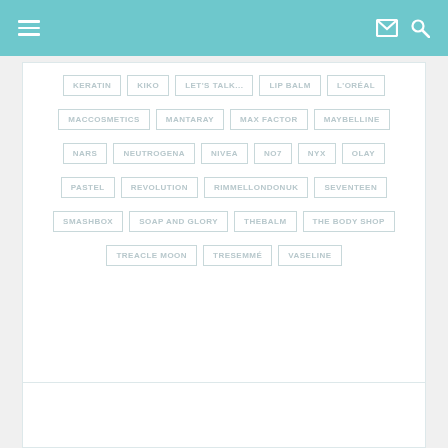Navigation header with hamburger menu, mail icon, and search icon
KERATIN
KIKO
LET'S TALK...
LIP BALM
L'ORÉAL
MACCOSMETICS
MANTARAY
MAX FACTOR
MAYBELLINE
NARS
NEUTROGENA
NIVEA
NO7
NYX
OLAY
PASTEL
REVOLUTION
RIMMELLONDONUK
SEVENTEEN
SMASHBOX
SOAP AND GLORY
THEBALM
THE BODY SHOP
TREACLE MOON
TRESEMMÉ
VASELINE
[Figure (other): Empty white content card at bottom of page]